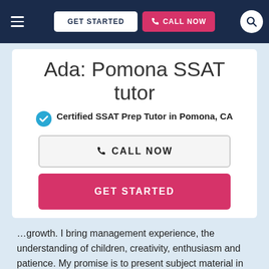GET STARTED | CALL NOW
Ada: Pomona SSAT tutor
Certified SSAT Prep Tutor in Pomona, CA
CALL NOW
GET STARTED
…growth. I bring management experience, the understanding of children, creativity, enthusiasm and patience. My promise is to present subject material in logical steps…